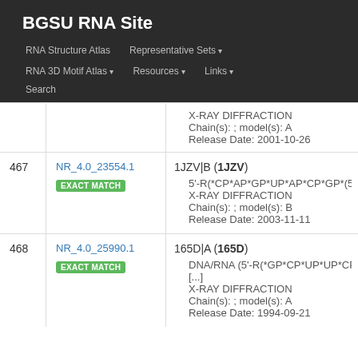BGSU RNA Site
RNA Structure Atlas | Representative Sets ▾ | RNA 3D Motif Atlas ▾ | Resources ▾ | Links ▾ | Search
X-RAY DIFFRACTION
Chain(s): ; model(s): A
Release Date: 2001-10-26
| # | ID | Detail |
| --- | --- | --- |
| 467 | NR_4.0_23554.1
EXACT MATCH | 1JZV|B (1JZV)
5'-R(*CP*AP*GP*UP*AP*CP*GP*(5IC)P*C
X-RAY DIFFRACTION
Chain(s): ; model(s): B
Release Date: 2003-11-11 |
| 468 | NR_4.0_25990.1
EXACT MATCH | 165D|A (165D)
DNA/RNA (5'-R(*GP*CP*UP*UP*CP*GP*G
[...]
X-RAY DIFFRACTION
Chain(s): ; model(s): A
Release Date: 1994-09-21 |